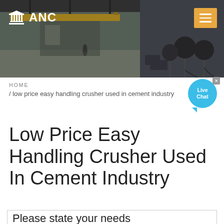[Figure (photo): Website header banner with industrial factory/warehouse background on left and microphone/press conference image on right, with ANC logo and hamburger menu button]
ANC
HOME / low price easy handling crusher used in cement industry
Low Price Easy Handling Crusher Used In Cement Industry
Please state your needs